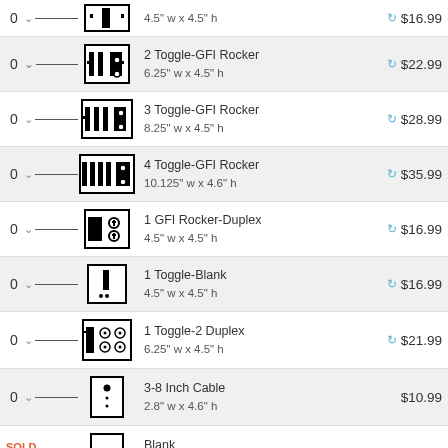2 Toggle-GFI Rocker, 6.25" w x 4.5" h, $22.99
3 Toggle-GFI Rocker, 8.25" w x 4.5" h, $28.99
4 Toggle-GFI Rocker, 10.125" w x 4.6" h, $35.99
1 GFI Rocker-Duplex, 4.5" w x 4.5" h, $16.99
1 Toggle-Blank, 4.5" w x 4.5" h, $16.99
1 Toggle-2 Duplex, 6.25" w x 4.5" h, $21.99
3-8 Inch Cable, 2.8" w x 4.6" h, $10.99
SOLD OUT! Blank, 2.8" w x 4.6" h, $10.99
2 Blank, 4.5" w x 4.5" h, $14.99
1 Port Modular